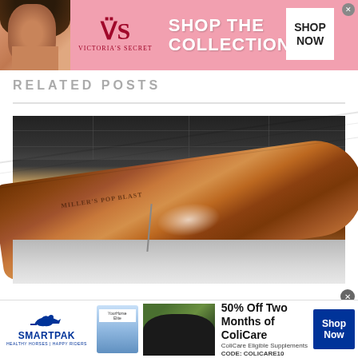[Figure (photo): Victoria's Secret advertisement banner with model, VS logo, 'SHOP THE COLLECTION' text, and 'SHOP NOW' button on pink background]
RELATED POSTS
[Figure (photo): Close-up photograph of a wooden rifle or bat with engraved/stamped markings, positioned diagonally against a tiled ceiling background]
[Figure (photo): SmartPak advertisement banner: '50% Off Two Months of ColiCare, ColiCare Eligible Supplements, CODE: COLICARE10' with horse and rider photo, product image, SmartPak logo, and blue 'Shop Now' button]